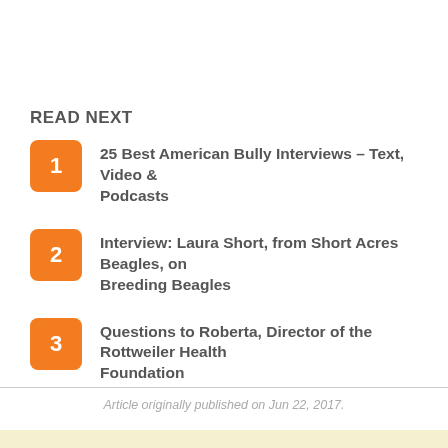READ NEXT
25 Best American Bully Interviews – Text, Video & Podcasts
Interview: Laura Short, from Short Acres Beagles, on Breeding Beagles
Questions to Roberta, Director of the Rottweiler Health Foundation
Article originally published on Jun 22, 2017.